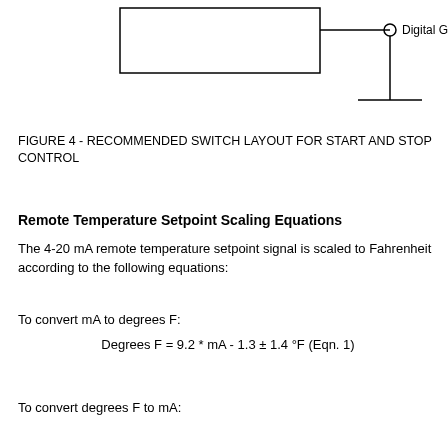[Figure (schematic): Partial circuit schematic showing a rectangle/box on the left, a horizontal line extending right, a circle junction node, label 'Digital Ground' to the right, and a vertical line going down from the node with a horizontal base line (ground symbol).]
FIGURE 4 - RECOMMENDED SWITCH LAYOUT FOR START AND STOP CONTROL
Remote Temperature Setpoint Scaling Equations
The 4-20 mA remote temperature setpoint signal is scaled to Fahrenheit according to the following equations:
To convert mA to degrees F:
To convert degrees F to mA: